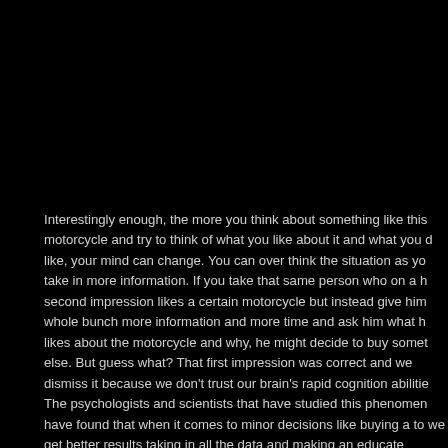Interestingly enough, the more you think about something like this motorcycle and try to think of what you like about it and what you don't like, your mind can change. You can over think the situation as you take in more information. If you take that same person who on a his second impression likes a certain motorcycle but instead give him a whole bunch more information and more time and ask him what he likes about the motorcycle and why, he might decide to buy something else. But guess what? That first impression was correct and we dismiss it because we don't trust our brain's rapid cognition abilities. The psychologists and scientists that have studied this phenomenon have found that when it comes to minor decisions like buying a toaster we get better results taking in all the data and making an educated